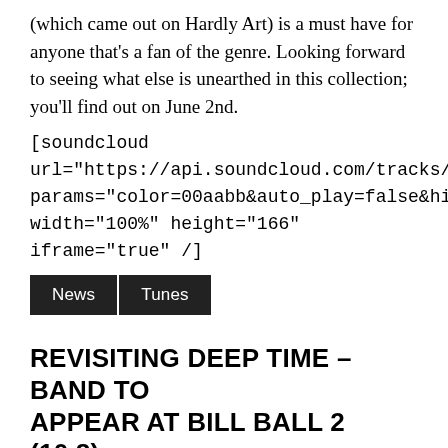(which came out on Hardly Art) is a must have for anyone that's a fan of the genre. Looking forward to seeing what else is unearthed in this collection; you'll find out on June 2nd.
[soundcloud url="https://api.soundcloud.com/tracks/317557575" params="color=00aabb&auto_play=false&hide_related=false&show_comments=true&show_user=true&show_reposts=false" width="100%" height="166" iframe="true" /]
News
Tunes
REVISITING DEEP TIME – BAND TO APPEAR AT BILL BALL 2 (10.8)
October 4, 2016 | nathan.lankford | Leave a comment